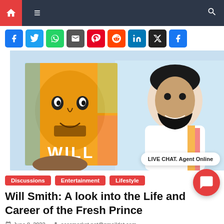Navigation bar with home icon, menu icon, and search icon
[Figure (screenshot): Row of social media share buttons: Facebook, Twitter, WhatsApp, Email, Pinterest, Reddit, LinkedIn, X (Twitter), Facebook]
[Figure (photo): A man holding up a colorful pop-art style book cover with 'WILL' written on it, featuring a portrait of Will Smith. A live chat badge reads 'LIVE CHAT. Agent Online'.]
Discussions  Entertainment  Lifestyle
Will Smith: A look into the Life and Career of the Fresh Prince
June 8, 2022   accsmarket.net@gmaildot.com